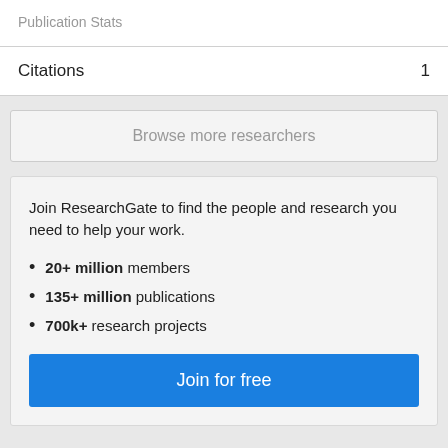Publication Stats
| Citations |  |
| --- | --- |
| Citations | 1 |
Browse more researchers
Join ResearchGate to find the people and research you need to help your work.
20+ million members
135+ million publications
700k+ research projects
Join for free